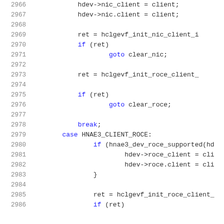Code listing lines 2966-2986 showing C source code with line numbers
2966    hdev->nic_client = client;
2967    hdev->nic.client = client;
2968
2969    ret = hclgevf_init_nic_client_i
2970    if (ret)
2971        goto clear_nic;
2972
2973    ret = hclgevf_init_roce_client_
2974
2975    if (ret)
2976        goto clear_roce;
2977
2978    break;
2979    case HNAE3_CLIENT_ROCE:
2980        if (hnae3_dev_roce_supported(hd
2981            hdev->roce_client = cli
2982            hdev->roce.client = cli
2983        }
2984
2985    ret = hclgevf_init_roce_client_
2986    if (ret)